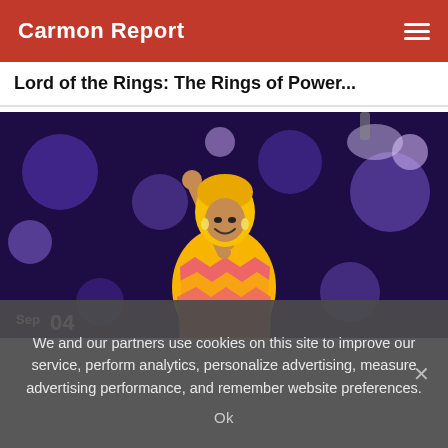Carmon Report
Lord of the Rings: The Rings of Power...
[Figure (photo): A performer in a bright yellow and pink colorful dress with a blonde bob wig, arm raised pointing upward, against a purple bokeh stage background with lights. Date stamp shows 'Sep 04' in lower left corner.]
We and our partners use cookies on this site to improve our service, perform analytics, personalize advertising, measure advertising performance, and remember website preferences.
Ok